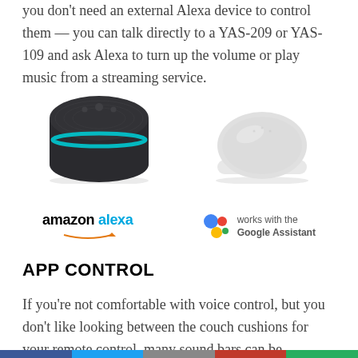you don't need an external Alexa device to control them — you can talk directly to a YAS-209 or YAS-109 and ask Alexa to turn up the volume or play music from a streaming service.
[Figure (photo): Amazon Echo Dot (3rd gen, charcoal fabric) on the left and Google Home Mini (light gray) on the right, side by side]
[Figure (logo): Amazon Alexa logo (amazon in black bold, alexa in blue) with Amazon smile arrow underneath]
[Figure (logo): Works with the Google Assistant logo: colorful Google Assistant icon dots with text 'works with the Google Assistant']
APP CONTROL
If you're not comfortable with voice control, but you don't like looking between the couch cushions for your remote control, many sound bars can be